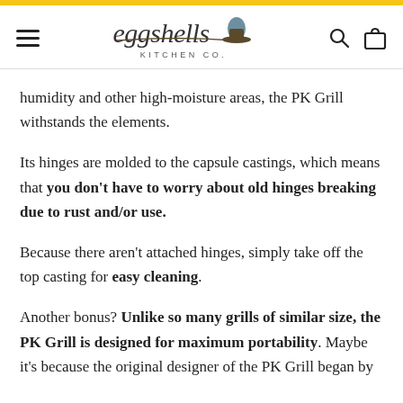eggshells KITCHEN CO.
humidity and other high-moisture areas, the PK Grill withstands the elements.
Its hinges are molded to the capsule castings, which means that you don't have to worry about old hinges breaking due to rust and/or use.
Because there aren't attached hinges, simply take off the top casting for easy cleaning.
Another bonus? Unlike so many grills of similar size, the PK Grill is designed for maximum portability. Maybe it's because the original designer of the PK Grill began by